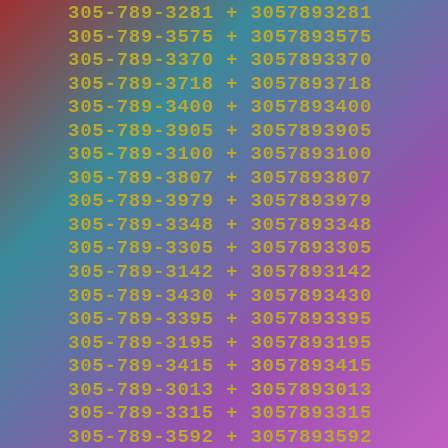305-789-3281 + 3057893281
305-789-3575 + 3057893575
305-789-3370 + 3057893370
305-789-3718 + 3057893718
305-789-3400 + 3057893400
305-789-3905 + 3057893905
305-789-3100 + 3057893100
305-789-3807 + 3057893807
305-789-3979 + 3057893979
305-789-3348 + 3057893348
305-789-3305 + 3057893305
305-789-3142 + 3057893142
305-789-3430 + 3057893430
305-789-3395 + 3057893395
305-789-3195 + 3057893195
305-789-3415 + 3057893415
305-789-3013 + 3057893013
305-789-3315 + 3057893315
305-789-3592 + 3057893592
305-789-3374 + 3057893374
305-789-3544 + 3057893544
305-789-3995 + 3057893995
305-789-3333 + 3057893333